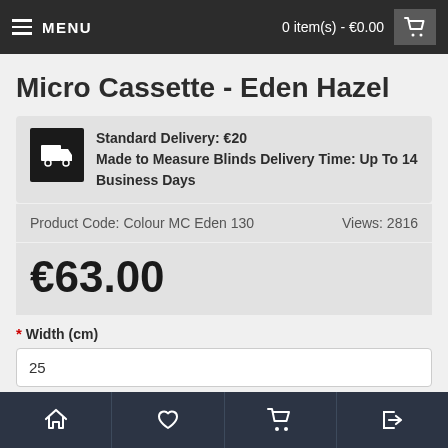MENU   0 item(s) - €0.00
Micro Cassette - Eden Hazel
Standard Delivery: €20
Made to Measure Blinds Delivery Time: Up To 14 Business Days
Product Code: Colour MC Eden 130   Views: 2816
€63.00
* Width (cm)
25
* Width = C (cm) Glass only auxiliary measurement
Width = C (cm) Glass only auxiliary measurement
Home  Favourites  Cart  Login